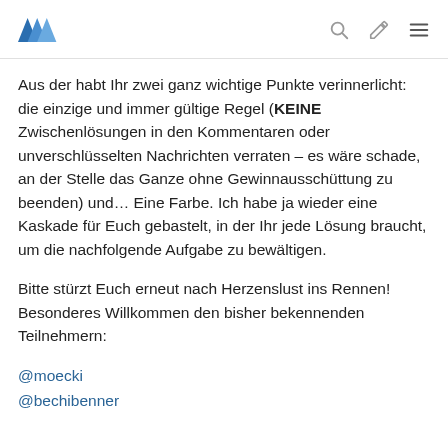Steemit logo, search icon, edit icon, menu icon
Aus der habt Ihr zwei ganz wichtige Punkte verinnerlicht: die einzige und immer gültige Regel (KEINE Zwischenlösungen in den Kommentaren oder unverschlüsselten Nachrichten verraten – es wäre schade, an der Stelle das Ganze ohne Gewinnausschüttung zu beenden) und... Eine Farbe. Ich habe ja wieder eine Kaskade für Euch gebastelt, in der Ihr jede Lösung braucht, um die nachfolgende Aufgabe zu bewältigen.
Bitte stürzt Euch erneut nach Herzenslust ins Rennen! Besonderes Willkommen den bisher bekennenden Teilnehmern:
@moecki
@bechibenner